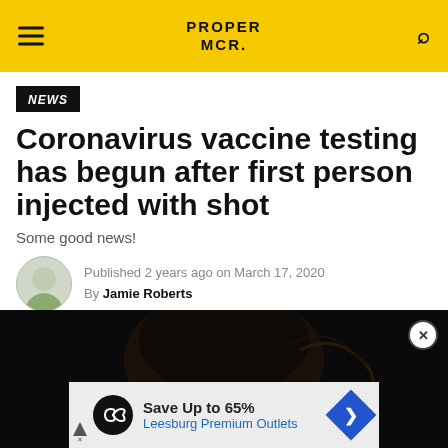PROPER MCR.
NEWS
Coronavirus vaccine testing has begun after first person injected with shot
Some good news!
Published 2 years ago on March 17, 2020
By Jamie Roberts
[Figure (photo): Dark photo showing the top of a person's head with dark hair against a black background]
[Figure (infographic): Advertisement banner: Save Up to 65% - Leesburg Premium Outlets]